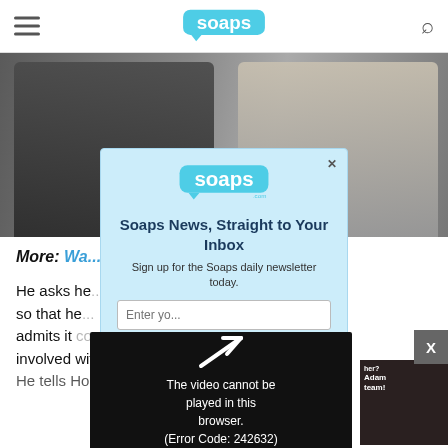soaps.com
[Figure (photo): Background photo of two people, a man on the left and a woman with blonde hair on the right]
More: Wa... n the line
He asks he... so that he... admits it concer... involved with She... He tells Hope and Brooke that theyre family
[Figure (screenshot): Newsletter signup popup with soaps.com logo, titled 'Soaps News, Straight to Your Inbox'. Sign up for the Soaps daily newsletter today. Email input field and subscribe button.]
[Figure (screenshot): Video player overlay showing error message: The video cannot be played in this browser. (Error Code: 242632)]